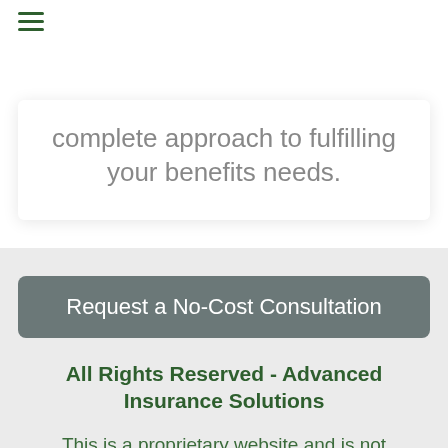≡
complete approach to fulfilling your benefits needs.
Request a No-Cost Consultation
All Rights Reserved - Advanced Insurance Solutions
This is a proprietary website and is not associated, endorsed or authorized by the Social Security Administration, the Department of